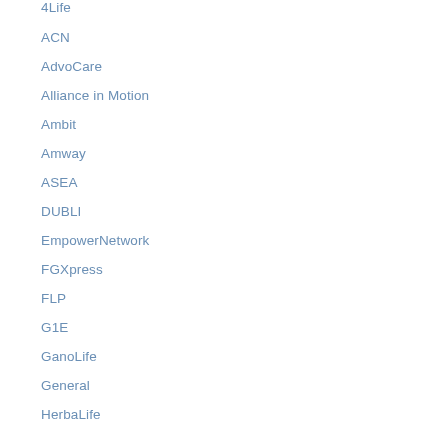4Life
ACN
AdvoCare
Alliance in Motion
Ambit
Amway
ASEA
DUBLI
EmpowerNetwork
FGXpress
FLP
G1E
GanoLife
General
HerbaLife